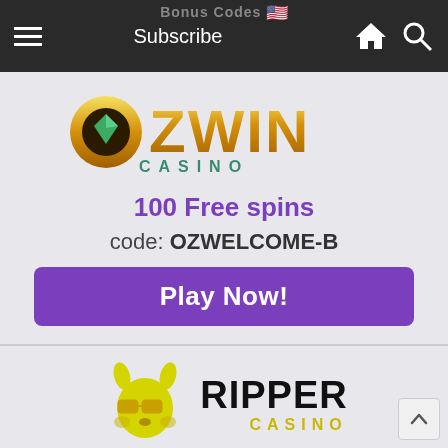Bonus Codes  Subscribe
[Figure (logo): OZWIN Casino logo with golden lettering and green gem, teal CASINO subtitle]
100 Free spins
code: OZWELCOME-B
Play Now!
[Figure (logo): Ripper Casino logo — yellow cartoon kangaroo with sunglasses, bold black RIPPER text with yellow CASINO subtitle]
$25 Free